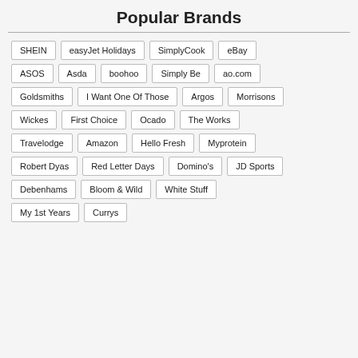Popular Brands
SHEIN
easyJet Holidays
SimplyCook
eBay
ASOS
Asda
boohoo
Simply Be
ao.com
Goldsmiths
I Want One Of Those
Argos
Morrisons
Wickes
First Choice
Ocado
The Works
Travelodge
Amazon
Hello Fresh
Myprotein
Robert Dyas
Red Letter Days
Domino's
JD Sports
Debenhams
Bloom & Wild
White Stuff
My 1st Years
Currys